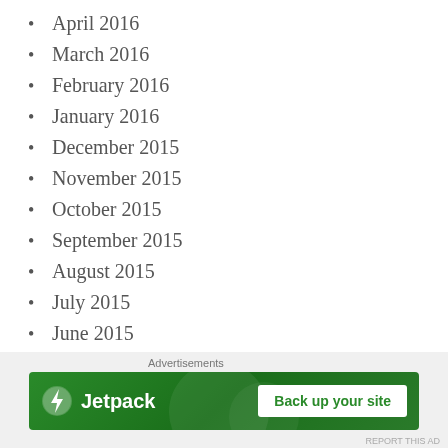April 2016
March 2016
February 2016
January 2016
December 2015
November 2015
October 2015
September 2015
August 2015
July 2015
June 2015
May 2015
April 2015
March 2015
[Figure (other): Jetpack advertisement banner with 'Back up your site' button]